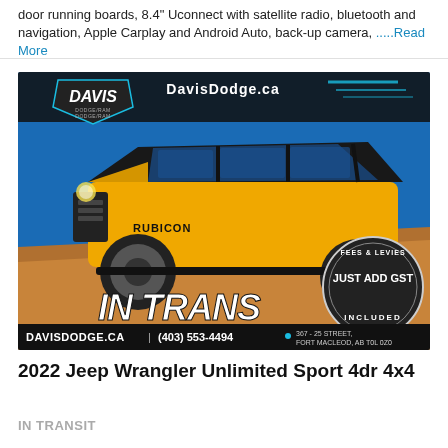door running boards, 8.4" Uconnect with satellite radio, bluetooth and navigation, Apple Carplay and Android Auto, back-up camera, .....Read More
[Figure (photo): Davis Dodge dealership advertisement showing a yellow Jeep Wrangler Rubicon 4-door on rocky terrain. Text reads 'IN TRANSIT (arriving soon!)' with a badge 'FEES & LEVIES INCLUDED - JUST ADD GST'. Bottom bar shows DAVISDODGE.CA | (403) 553-4494 and address 367-25 Street, Fort Macleod, AB T0L 0Z0]
2022 Jeep Wrangler Unlimited Sport 4dr 4x4
IN TRANSIT